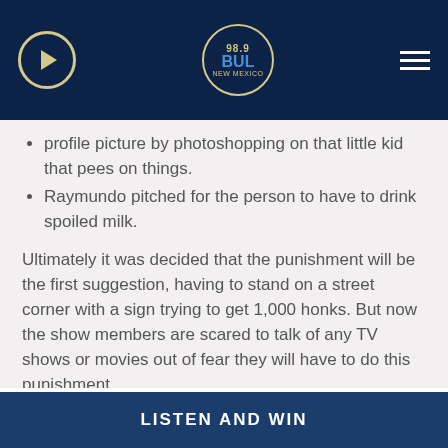98.9 The Bull radio station header with play button and hamburger menu
profile picture by photoshopping on that little kid that pees on things.
Raymundo pitched for the person to have to drink spoiled milk.
Ultimately it was decided that the punishment will be the first suggestion, having to stand on a street corner with a sign trying to get 1,000 honks. But now the show members are scared to talk of any TV shows or movies out of fear they will have to do this punishment.
LISTEN AND WIN